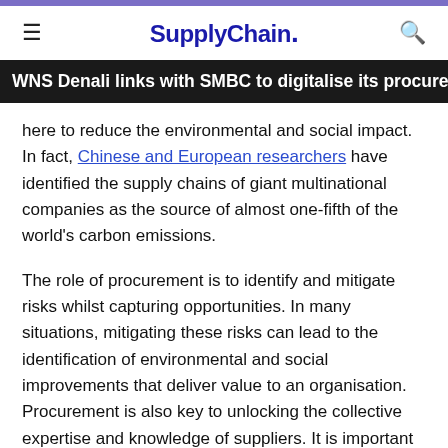SupplyChain.
WNS Denali links with SMBC to digitalise its procurement
here to reduce the environmental and social impact. In fact, Chinese and European researchers have identified the supply chains of giant multinational companies as the source of almost one-fifth of the world's carbon emissions.
The role of procurement is to identify and mitigate risks whilst capturing opportunities. In many situations, mitigating these risks can lead to the identification of environmental and social improvements that deliver value to an organisation. Procurement is also key to unlocking the collective expertise and knowledge of suppliers. It is important that these suppliers understand what the business wants to achieve – from there, it is possible to work collaboratively to suggest and implement sustainable alternatives.